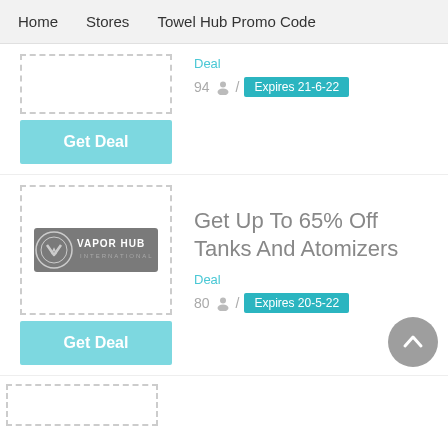Home   Stores   Towel Hub Promo Code
Deal
94 / Expires 21-6-22
Get Deal
[Figure (logo): Vapor Hub International logo on grey background]
Get Up To 65% Off Tanks And Atomizers
Deal
80 / Expires 20-5-22
Get Deal